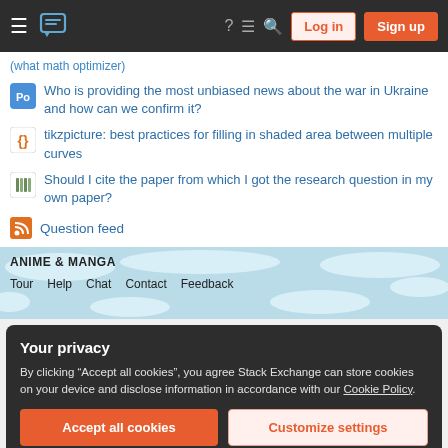Stack Exchange navigation bar with hamburger menu, logo, help, chat, search icons, Log in and Sign up buttons
(what math optimizer)
Who is providing the most unbiased news about the war in Ukraine and how can we confirm it?
tikzpicture: best practices for filling in shaded area between multiple curves
Should I cite the paper from which I got the research question in my own paper?
Question feed
ANIME & MANGA
Tour  Help  Chat  Contact  Feedback
Your privacy
By clicking "Accept all cookies", you agree Stack Exchange can store cookies on your device and disclose information in accordance with our Cookie Policy.
Accept all cookies
Customize settings
Business